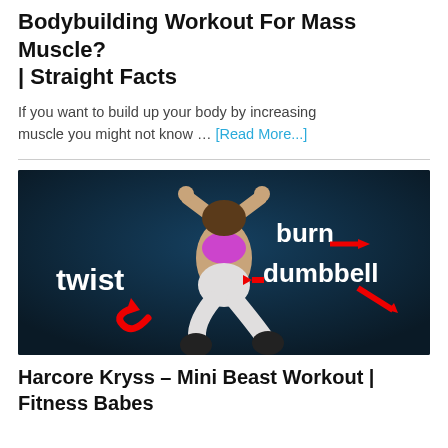Bodybuilding Workout For Mass Muscle? | Straight Facts
If you want to build up your body by increasing muscle you might not know … [Read More...]
[Figure (photo): Woman doing hanging ab twists in a gym, with text overlays: 'twist', 'burn', 'dumbbell' with red arrows pointing at various muscle groups]
Harcore Kryss – Mini Beast Workout | Fitness Babes